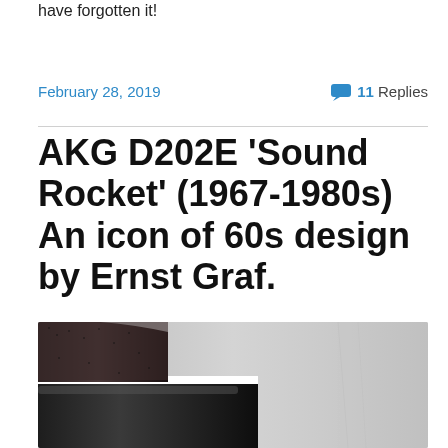have forgotten it!
February 28, 2019   💬 11 Replies
AKG D202E 'Sound Rocket' (1967-1980s) An icon of 60s design by Ernst Graf.
[Figure (photo): Close-up photo of the AKG D202E microphone, showing its dark textured body and polished black handle with a white stripe separator, photographed against a light grey background.]